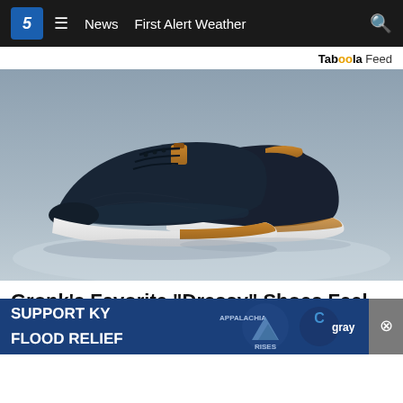CBS 5 News — News | First Alert Weather
Taboola Feed
[Figure (photo): Two navy blue dressy sneakers with white soles and tan leather accents displayed on a light grey/blue surface]
Gronk's Favorite "Dressy" Shoes Feel Like Walking On Clouds
Wolf & She
[Figure (infographic): Support KY Flood Relief advertisement banner with Appalachia Rises and Gray Television logos]